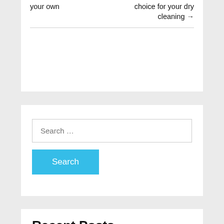your own
choice for your dry cleaning →
[Figure (screenshot): Search widget with text input field showing 'Search ...' placeholder and a cyan 'Search' button]
Recent Posts